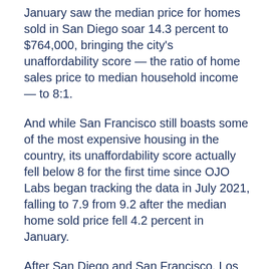January saw the median price for homes sold in San Diego soar 14.3 percent to $764,000, bringing the city's unaffordability score — the ratio of home sales price to median household income — to 8:1.
And while San Francisco still boasts some of the most expensive housing in the country, its unaffordability score actually fell below 8 for the first time since OJO Labs began tracking the data in July 2021, falling to 7.9 from 9.2 after the median home sold price fell 4.2 percent in January.
After San Diego and San Francisco, Los Angeles, Mobile, Alabama, Pensacola, Florida, and Boise, Idaho rounded out the reports least affordable cities in the United States.
On the opposite end, Green Bay